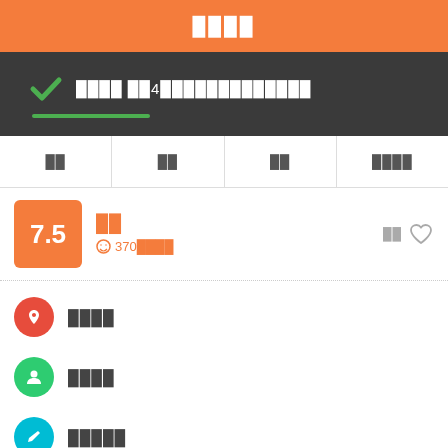████
████ ██4█████████████
██ ██ ██ ████
7.5
██
370████
██
████
████
█████
Great Property 1 block from Antigua's Parque Central. Private & dorm rooms with private bath in the room, cable TV & free Wi-Fi. Pet friendly. Rooftop terrace with views, kitchen to use, lockers. Taxes are not included in the WRI price. The Guatemalan government